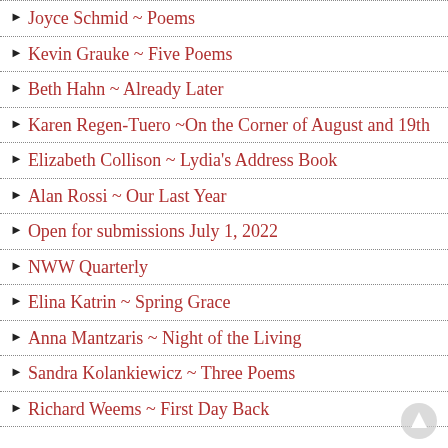Joyce Schmid ~ Poems
Kevin Grauke ~ Five Poems
Beth Hahn ~ Already Later
Karen Regen-Tuero ~On the Corner of August and 19th
Elizabeth Collison ~ Lydia's Address Book
Alan Rossi ~ Our Last Year
Open for submissions July 1, 2022
NWW Quarterly
Elina Katrin ~ Spring Grace
Anna Mantzaris ~ Night of the Living
Sandra Kolankiewicz ~ Three Poems
Richard Weems ~ First Day Back